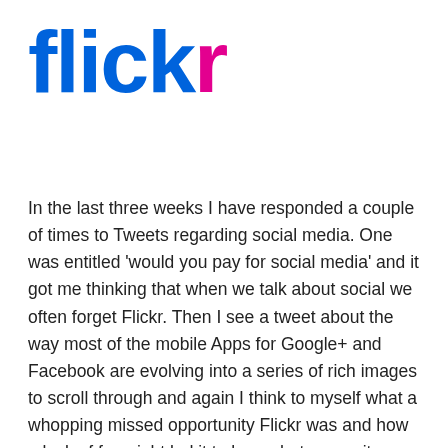[Figure (logo): Flickr logo — 'flickr' in bold sans-serif, with 'flick' in blue (#0063dc) and 'r' in pink/magenta (#e3008f)]
In the last three weeks I have responded a couple of times to Tweets regarding social media. One was entitled 'would you pay for social media' and it got me thinking that when we talk about social we often forget Flickr. Then I see a tweet about the way most of the mobile Apps for Google+ and Facebook are evolving into a series of rich images to scroll through and again I think to myself what a whopping missed opportunity Flickr was and how a lack of foresight led it to be a photo repository for the average user.